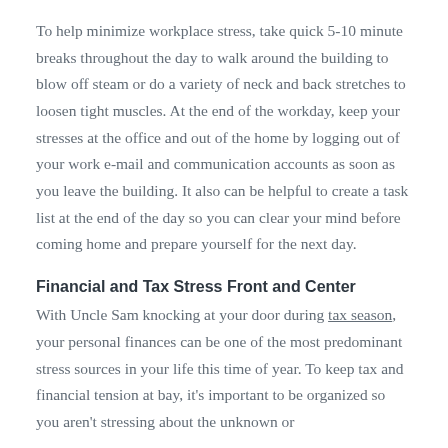To help minimize workplace stress, take quick 5-10 minute breaks throughout the day to walk around the building to blow off steam or do a variety of neck and back stretches to loosen tight muscles. At the end of the workday, keep your stresses at the office and out of the home by logging out of your work e-mail and communication accounts as soon as you leave the building. It also can be helpful to create a task list at the end of the day so you can clear your mind before coming home and prepare yourself for the next day.
Financial and Tax Stress Front and Center
With Uncle Sam knocking at your door during tax season, your personal finances can be one of the most predominant stress sources in your life this time of year. To keep tax and financial tension at bay, it's important to be organized so you aren't stressing about the unknown or